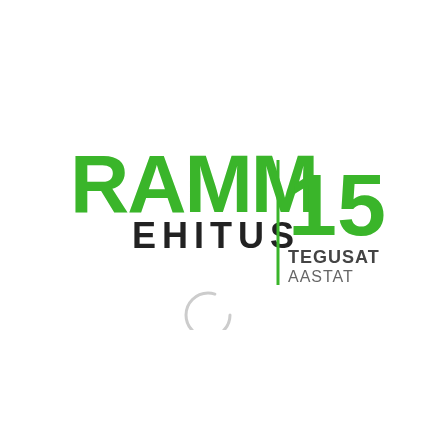[Figure (logo): RAMM EHITUS company logo with '15 TEGUSAT AASTAT' (15 active years) anniversary mark. Green bold text 'RAMM' above dark 'EHITUS', separated by a vertical green line from green '15' with dark text 'TEGUSAT AASTAT' below. A loading spinner circle appears below the logo.]